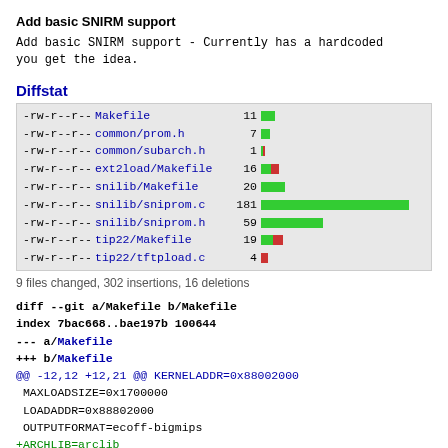Add basic SNIRM support
Add basic SNIRM support - Currently has a hardcoded you get the idea.
Diffstat
| permissions | file | changes | bar |
| --- | --- | --- | --- |
| -rw-r--r-- | Makefile | 11 | green bar |
| -rw-r--r-- | common/prom.h | 7 | green bar |
| -rw-r--r-- | common/subarch.h | 1 | tiny bar |
| -rw-r--r-- | ext2load/Makefile | 16 | mixed bar |
| -rw-r--r-- | snilib/Makefile | 20 | green bar |
| -rw-r--r-- | snilib/sniprom.c | 181 | large green bar |
| -rw-r--r-- | snilib/sniprom.h | 59 | green bar |
| -rw-r--r-- | tip22/Makefile | 19 | mixed bar |
| -rw-r--r-- | tip22/tftpload.c | 4 | tiny red bar |
9 files changed, 302 insertions, 16 deletions
diff --git a/Makefile b/Makefile
index 7bac668..bae197b 100644
--- a/Makefile
+++ b/Makefile
@@ -12,12 +12,21 @@ KERNELADDR=0x88002000
 MAXLOADSIZE=0x1700000
 LOADADDR=0x88802000
 OUTPUTFORMAT=ecoff-bigmips
+ARCHLIB=arclib
 endif